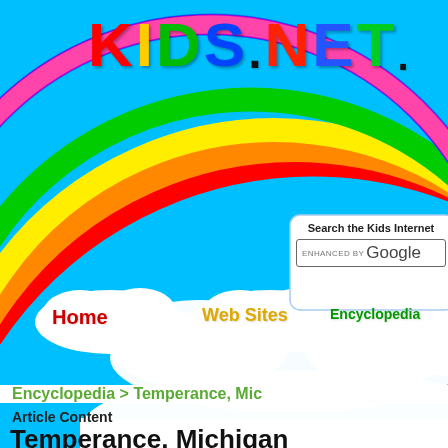[Figure (screenshot): Kids.NET. website header with rainbow arc, colorful logo text, navigation cloud buttons (Home, Web Sites, Encyclopedia), and Google search box on sky blue background]
KIDS.NET.
Search the Kids Internet
ENHANCED BY Google
Home
Web Sites
Encyclopedia
Encyclopedia > Temperance, Mic
Article Content
Temperance, Michigan
Temperance is a town located in Monroe County, town had a total population of 7,757.
Geography According to the United States Cens